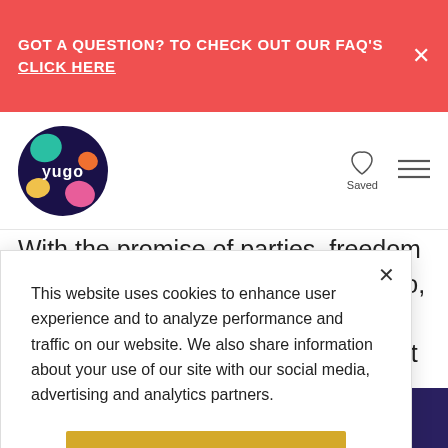GOT A QUESTION? TO CHECK OUT OUR FAQ'S CLICK HERE
[Figure (logo): Yugo circular logo with colorful shapes on dark background]
With the promise of parties, freedom and maybe a new city to explore too, you're probably really excited about starting university. But only the most superhumanly confident of people won't also be a bit nervous about
This website uses cookies to enhance user experience and to analyze performance and traffic on our website. We also share information about your use of our site with our social media, advertising and analytics partners.
Accept Cookies
Do Not Sell My.